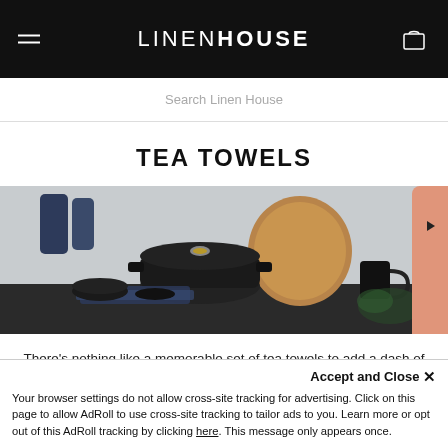LINEN HOUSE
Search Linen House
TEA TOWELS
[Figure (photo): Kitchen scene with black cast iron pot, wooden round cutting board, dark blue folded tea towel, black bowls and plates on a dark countertop against a grey wall.]
There's nothing like a memorable set of tea towels to add a dash of charm, fun and colour to your much loved kitchen.

Luckily, our designers here at Linen House, have come up with a range of top qual...
Accept and Close ×
Your browser settings do not allow cross-site tracking for advertising. Click on this page to allow AdRoll to use cross-site tracking to tailor ads to you. Learn more or opt out of this AdRoll tracking by clicking here. This message only appears once.